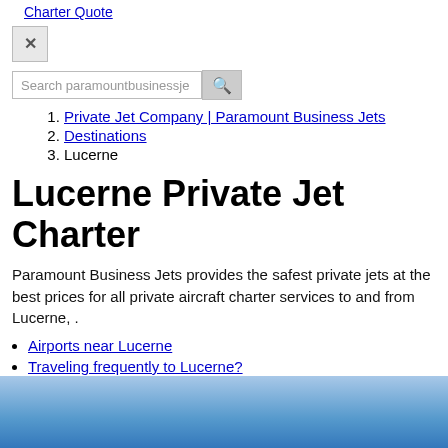Charter Quote
✕
Search paramountbusinessje
1. Private Jet Company | Paramount Business Jets
2. Destinations
3. Lucerne
Lucerne Private Jet Charter
Paramount Business Jets provides the safest private jets at the best prices for all private aircraft charter services to and from Lucerne, .
Airports near Lucerne
Traveling frequently to Lucerne?
Price Estimations
Charter's FAQ
[Figure (photo): Blue gradient background image at the bottom of the page]